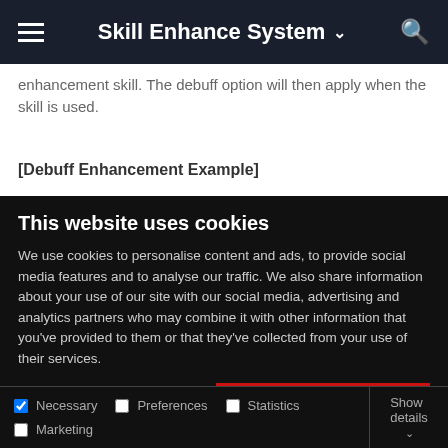Skill Enhance System
enhancement skill. The debuff option will then apply when the skill is used.
[Debuff Enhancement Example]
This website uses cookies
We use cookies to personalise content and ads, to provide social media features and to analyse our traffic. We also share information about your use of our site with our social media, advertising and analytics partners who may combine it with other information that you've provided to them or that they've collected from your use of their services.
Allow all cookies
Allow selection
Use necessary cookies only
Necessary | Preferences | Statistics | Marketing | Show details